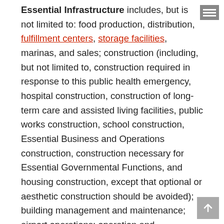Essential Infrastructure includes, but is not limited to: food production, distribution, fulfillment centers, storage facilities, marinas, and sales; construction (including, but not limited to, construction required in response to this public health emergency, hospital construction, construction of long-term care and assisted living facilities, public works construction, school construction, Essential Business and Operations construction, construction necessary for Essential Governmental Functions, and housing construction, except that optional or aesthetic construction should be avoided); building management and maintenance; airport operations; operation and maintenance of utilities, including water, sewer, gas, and electric (including power generation, distribution, production of raw materials, and Wisconsin Department of Natural Resources-certified and registered drinking water and wastewater testing laboratories); Wisconsin Home Energy Assistance, Low Income Home